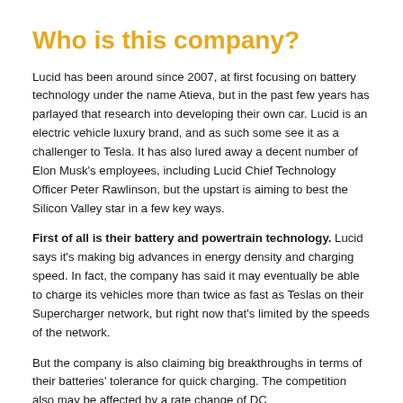Who is this company?
Lucid has been around since 2007, at first focusing on battery technology under the name Atieva, but in the past few years has parlayed that research into developing their own car. Lucid is an electric vehicle luxury brand, and as such some see it as a challenger to Tesla. It has also lured away a decent number of Elon Musk's employees, including Lucid Chief Technology Officer Peter Rawlinson, but the upstart is aiming to best the Silicon Valley star in a few key ways.
First of all is their battery and powertrain technology. Lucid says it's making big advances in energy density and charging speed. In fact, the company has said it may eventually be able to charge its vehicles more than twice as fast as Teslas on their Supercharger network, but right now that's limited by the speeds of the network.
But the company is also claiming big breakthroughs in terms of their batteries' tolerance for quick charging. The competition also may be affected by a rate change of DC...